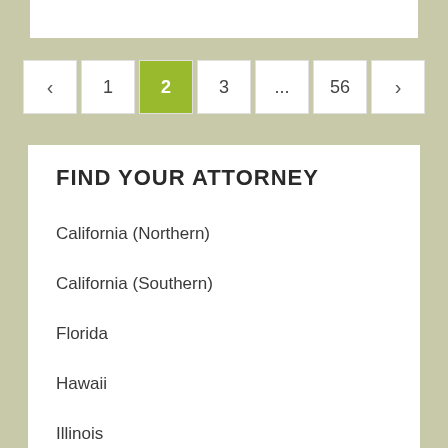[Figure (screenshot): Pagination navigation bar showing previous arrow, pages 1, 2 (active/highlighted in green), 3, ellipsis, 56, and next arrow]
FIND YOUR ATTORNEY
California (Northern)
California (Southern)
Florida
Hawaii
Illinois
Indiana